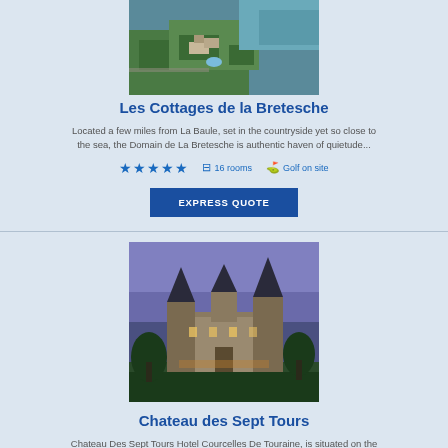[Figure (photo): Aerial view of Les Cottages de la Bretesche surrounded by greenery and water]
Les Cottages de la Bretesche
Located a few miles from La Baule, set in the countryside yet so close to the sea, the Domain de La Bretesche is authentic haven of quietude...
★★★★★  ⊟16 rooms  ⛳Golf on site
EXPRESS QUOTE
[Figure (photo): Exterior night/dusk view of Chateau des Sept Tours, a castle with pointed towers]
Chateau des Sept Tours
Chateau Des Sept Tours Hotel Courcelles De Touraine, is situated on the edge of the Loire Valley, only 35 kilometres from the city of Tours....
★★★★  ⊟46 rooms  ⛳Golf on site